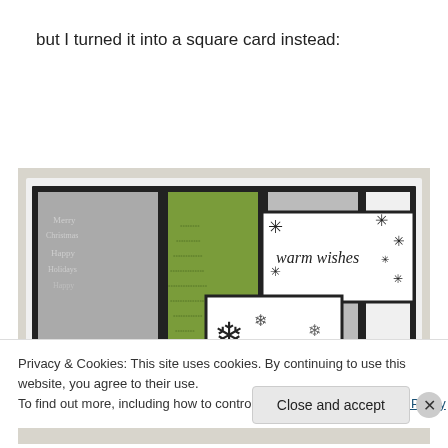but I turned it into a square card instead:
[Figure (photo): A handmade Christmas card featuring patterned paper panels including green tree pattern, red houndstooth, and grey holiday text panels, with a white panel reading 'warm wishes' in cursive with snowflake stamps, and a white overlapping panel with large snowflake stamps.]
Privacy & Cookies: This site uses cookies. By continuing to use this website, you agree to their use.
To find out more, including how to control cookies, see here: Cookie Policy